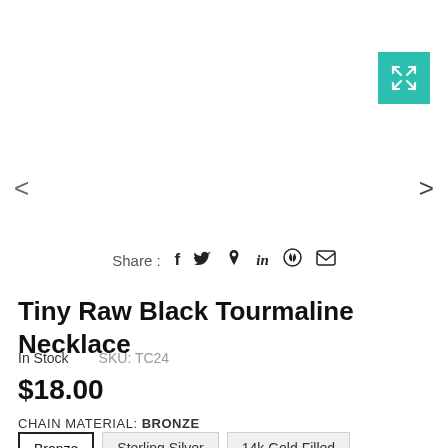[Figure (screenshot): Expand/fullscreen button — teal/turquoise square with a white expand (arrows) icon in the top-right corner]
< (left navigation arrow)
> (right navigation arrow)
Share :  f  (twitter bird)  (pinterest P)  in  (whatsapp)  (email envelope)
Tiny Raw Black Tourmaline Necklace
In Stock     SKU: TC24
$18.00
CHAIN MATERIAL: BRONZE
Bronze | Sterling Silver | 14k Gold Filled